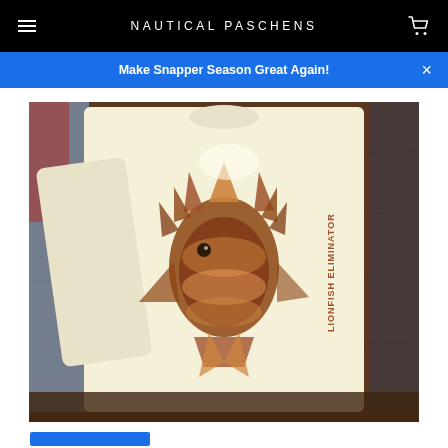NAUTICAL PASCHENS
Make Snapper Season Great Again!
[Figure (photo): Back of a cream/yellow long-sleeve shirt laid flat on a wooden surface. The shirt features a large lionfish graphic on the back and the sleeve reads 'LIONFISH ELIMINATOR' vertically. Other shirts are partially visible on the sides.]